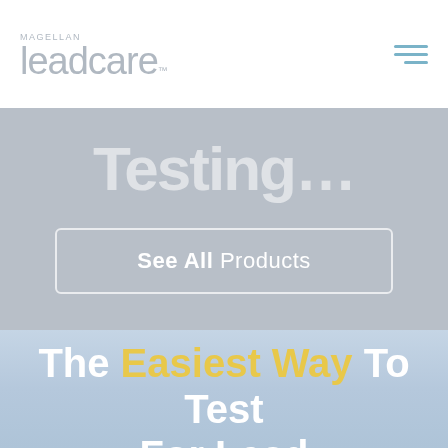MAGELLAN leadcare™
[Figure (screenshot): Partial large text heading visible at top of gray section, partially cropped]
See All Products
The Easiest Way To Test For Lead